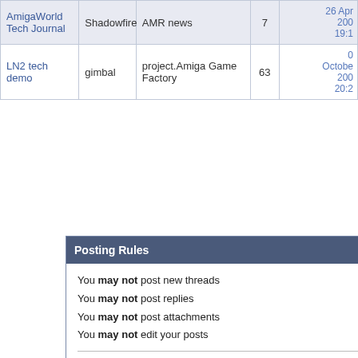| Title | Author | Forum | Replies | Last Post |
| --- | --- | --- | --- | --- |
| AmigaWorld Tech Journal | Shadowfire | AMR news | 7 | 26 Apr 200
19:1 |
| LN2 tech demo | gimbal | project.Amiga Game Factory | 63 | 0
October 200
20:2 |
Posting Rules
You may not post new threads
You may not post replies
You may not post attachments
You may not edit your posts
BB code is On
Smilies are On
[IMG] code is On
This website uses cookies to improve user experience and display correct advertisement. Learn more
Got it!
Page generated in 0.05352 seconds with 15 queries